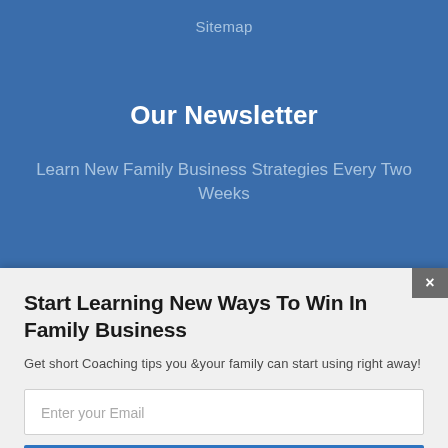Sitemap
Our Newsletter
Learn New Family Business Strategies Every Two Weeks
Start Learning New Ways To Win In Family Business
Get short Coaching tips you &your family can start using right away!
Enter your Email
SUBSCRIBE NOW